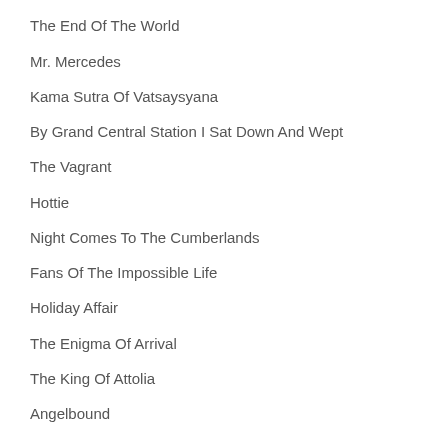Cruel Crown
The End Of The World
Mr. Mercedes
Kama Sutra Of Vatsaysyana
By Grand Central Station I Sat Down And Wept
The Vagrant
Hottie
Night Comes To The Cumberlands
Fans Of The Impossible Life
Holiday Affair
The Enigma Of Arrival
The King Of Attolia
Angelbound